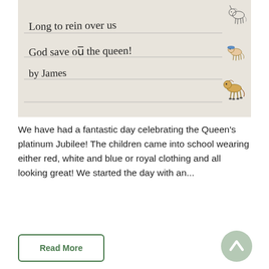[Figure (photo): A child's handwritten lined paper showing: 'Long to rein over us God save our the queen! by James' with drawings of unicorns and a horse on the right margin.]
We have had a fantastic day celebrating the Queen's platinum Jubilee! The children came into school wearing either red, white and blue or royal clothing and all looking great! We started the day with an...
Read More